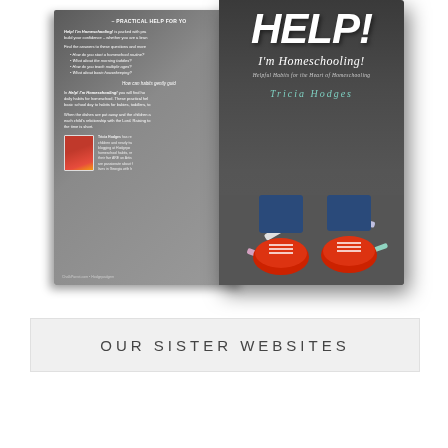[Figure (photo): A 3D book mockup showing the front and back cover of 'HELP! I'm Homeschooling!' by Tricia Hodges. The front cover shows white chalk text on a dark chalkboard background with red sneakers and chalk pieces visible. The back cover shows bullet points about the book content and an author photo. Subtitle reads 'Helpful Habits for the Heart of Homeschooling'.]
OUR SISTER WEBSITES